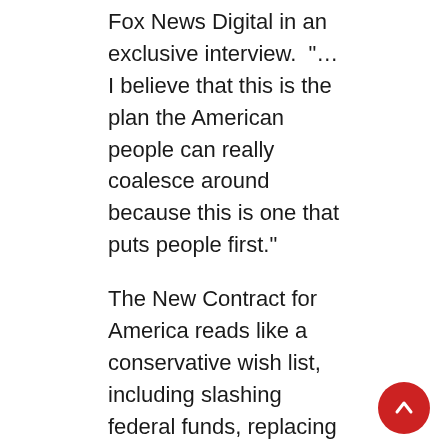Fox News Digital in an exclusive interview. "… I believe that this is the plan the American people can really coalesce around because this is one that puts people first."
The New Contract for America reads like a conservative wish list, including slashing federal funds, replacing the income tax, abolishing the Department of Education and stating that life begins at conception and therefore affording legal protections to fertilized eggs and fetuses.
GOP REP. MADISON CAWTHORN LAUNCHES CAMPAIGN TO IMPOSE TERM LIMITS ON CONGRESS: 'DRAIN THE SWAMP'
Gingrich, the former Republican House speaker, was an architect of the 1994 legislative agenda